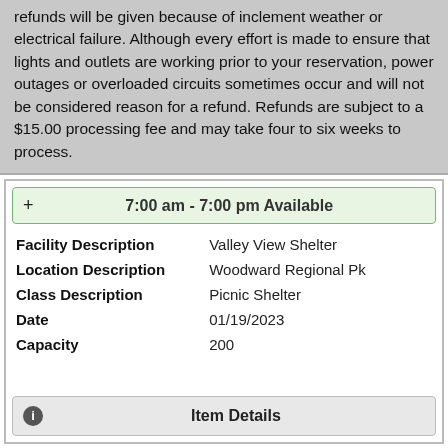refunds will be given because of inclement weather or electrical failure. Although every effort is made to ensure that lights and outlets are working prior to your reservation, power outages or overloaded circuits sometimes occur and will not be considered reason for a refund. Refunds are subject to a $15.00 processing fee and may take four to six weeks to process.
+ 7:00 am - 7:00 pm Available
| Facility Description | Valley View Shelter |
| Location Description | Woodward Regional Pk |
| Class Description | Picnic Shelter |
| Date | 01/19/2023 |
| Capacity | 200 |
Item Details